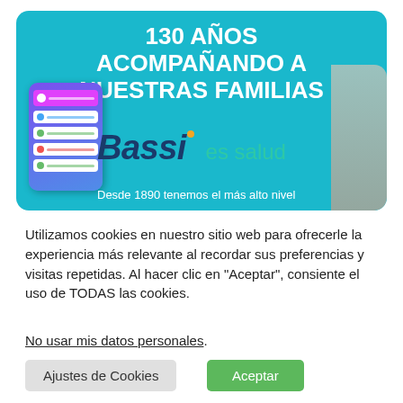[Figure (illustration): Teal/cyan banner with bold white text '130 AÑOS ACOMPAÑANDO A NUESTRAS FAMILIAS', Bassi logo with italic dark blue text and 'es salud' in green, a smartphone mockup showing an app interface, a partial person silhouette on the right, and footer text 'Desde 1890 tenemos el más alto nivel']
Utilizamos cookies en nuestro sitio web para ofrecerle la experiencia más relevante al recordar sus preferencias y visitas repetidas. Al hacer clic en "Aceptar", consiente el uso de TODAS las cookies.
No usar mis datos personales.
Ajustes de Cookies
Aceptar